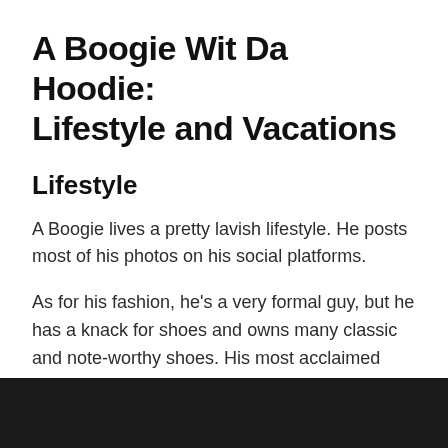A Boogie Wit Da Hoodie: Lifestyle and Vacations
Lifestyle
A Boogie lives a pretty lavish lifestyle. He posts most of his photos on his social platforms.
As for his fashion, he's a very formal guy, but he has a knack for shoes and owns many classic and note-worthy shoes. His most acclaimed shoes are Air Jordan, Jordan Air Max, Yeezy 350 V2s, Off-White x Air Max 97s, etc.